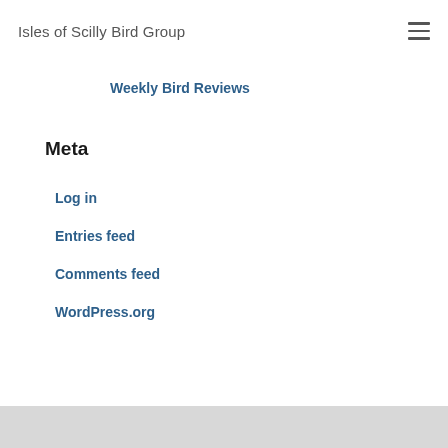Isles of Scilly Bird Group
Weekly Bird Reviews
Meta
Log in
Entries feed
Comments feed
WordPress.org